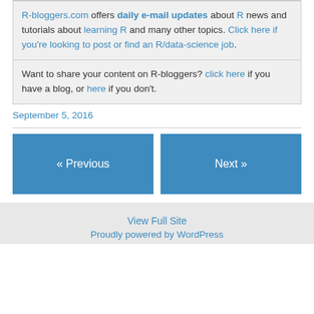R-bloggers.com offers daily e-mail updates about R news and tutorials about learning R and many other topics. Click here if you're looking to post or find an R/data-science job.
Want to share your content on R-bloggers? click here if you have a blog, or here if you don't.
September 5, 2016
« Previous
Next »
View Full Site
Proudly powered by WordPress